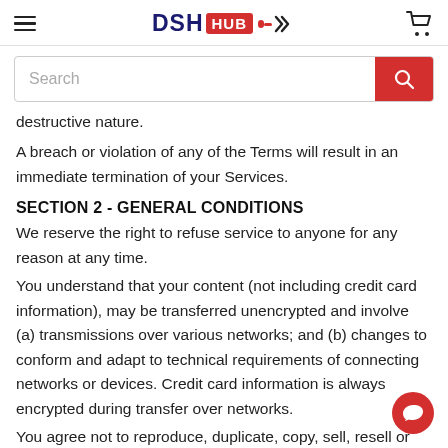DSH HUB [logo with cart icon]
destructive nature.
A breach or violation of any of the Terms will result in an immediate termination of your Services.
SECTION 2 - GENERAL CONDITIONS
We reserve the right to refuse service to anyone for any reason at any time.
You understand that your content (not including credit card information), may be transferred unencrypted and involve (a) transmissions over various networks; and (b) changes to conform and adapt to technical requirements of connecting networks or devices. Credit card information is always encrypted during transfer over networks.
You agree not to reproduce, duplicate, copy, sell, resell or